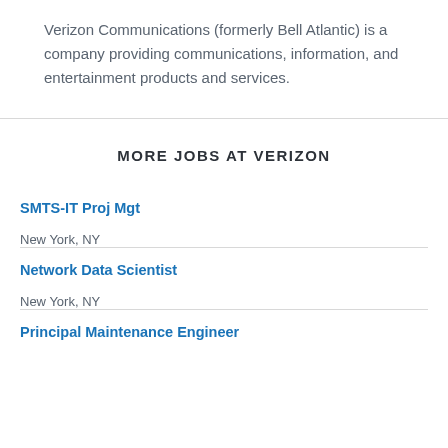Verizon Communications (formerly Bell Atlantic) is a company providing communications, information, and entertainment products and services.
MORE JOBS AT VERIZON
SMTS-IT Proj Mgt
New York, NY
Network Data Scientist
New York, NY
Principal Maintenance Engineer